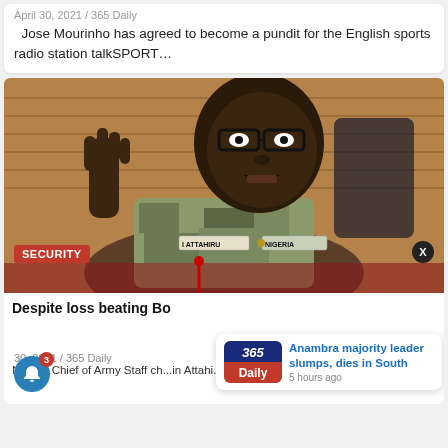April 30, 2021 / 365 Daily
Jose Mourinho has agreed to become a pundit for the English sports radio station talkSPORT...
[Figure (photo): Nigerian military officer I. Attahiru in camouflage uniform, wearing glasses, gesturing with hand raised, seated at a desk. A 'SECURITY' badge is shown in the lower left and an 'X' button in lower right.]
Despite loss beating Bo
30, 2021 / 365 Daily
Nigeria Chief of Army Staff ch...in Attahi...
Anambra majority leader slumps, dies in South
5 hours ago